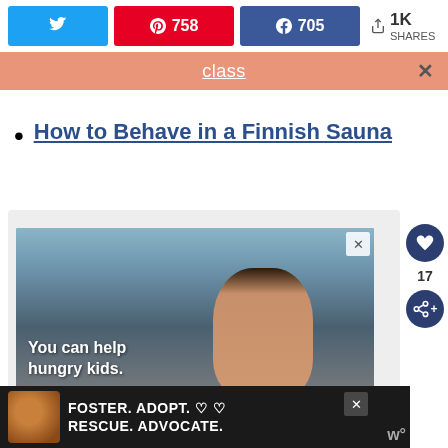[Figure (screenshot): Social sharing bar with Twitter, Pinterest (758), Facebook (705) buttons and 1K shares count]
[Figure (screenshot): Salmon/coral colored banner with underlined text 'class' and an X close button]
How to Behave in a Finnish Sauna
[Figure (photo): Advertisement showing a young boy in a classroom with text 'You can help hungry kids.' overlaid]
[Figure (screenshot): Bottom advertisement banner: FOSTER. ADOPT. RESCUE. ADVOCATE. with a dog photo]
[Figure (screenshot): Sidebar with heart icon, number 17, and share icon]